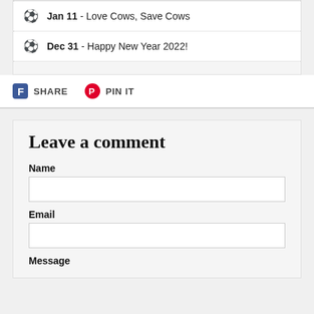Jan 11 - Love Cows, Save Cows
Dec 31 - Happy New Year 2022!
SHARE  PIN IT
Leave a comment
Name
Email
Message